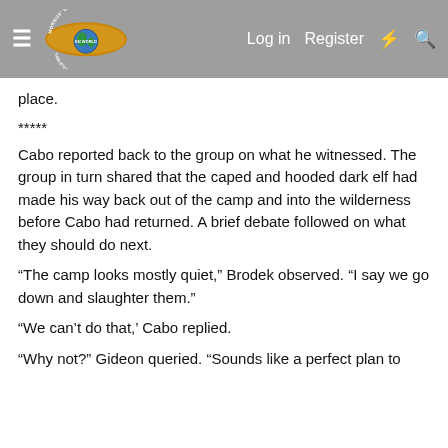Morrus' Unofficial Tabletop RPG News — Log in  Register
place.
*****
Cabo reported back to the group on what he witnessed. The group in turn shared that the caped and hooded dark elf had made his way back out of the camp and into the wilderness before Cabo had returned. A brief debate followed on what they should do next.
“The camp looks mostly quiet,” Brodek observed. “I say we go down and slaughter them.”
“We can’t do that,’ Cabo replied.
“Why not?” Gideon queried. “Sounds like a perfect plan to